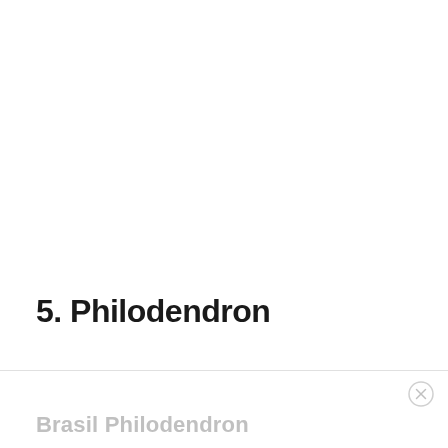5. Philodendron
Brasil Philodendron